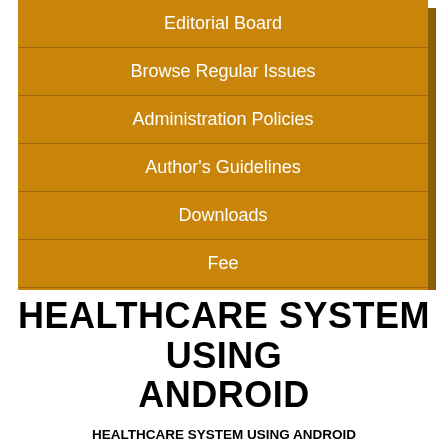Editorial Board
Browse Regular Issues
Administration Policies
Author's Guidelines
Downloads
Fee
Contact Us
HEALTHCARE SYSTEM USING ANDROID
HEALTHCARE SYSTEM USING ANDROID
Mr.Punnet Varshney
IMS Engineering College, Ghaziabad
Students  -Rishabh Soti, Shivangi Goswami I MS Engineering College, Ghaziabad